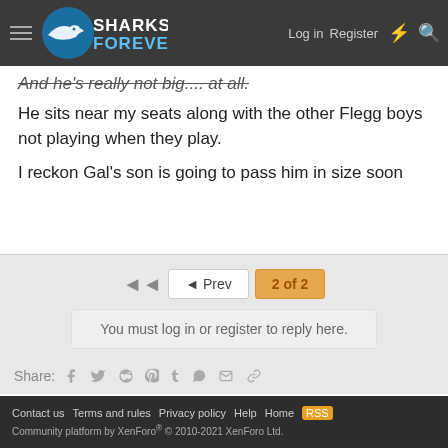Sharks Forever — Log in | Register
And he's really not big.... at all.
He sits near my seats along with the other Flegg boys not playing when they play.
I reckon Gal's son is going to pass him in size soon
◄◄  ◄ Prev   2 of 2
You must log in or register to reply here.
Share:
Toyota Cup, NSW Cup and Juniors
Contact us   Terms and rules   Privacy policy   Help   Home   [RSS]   Community platform by XenForo® © 2010-2021 XenForo Ltd.